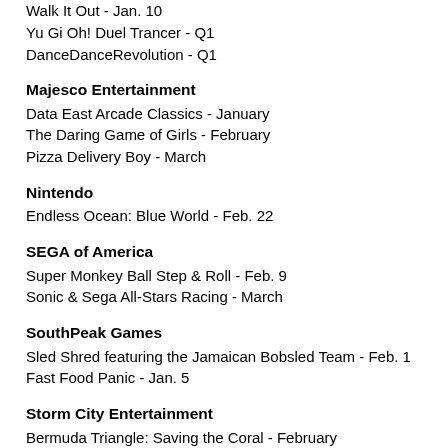Walk It Out - Jan. 10
Yu Gi Oh! Duel Trancer - Q1
DanceDanceRevolution - Q1
Majesco Entertainment
Data East Arcade Classics - January
The Daring Game of Girls - February
Pizza Delivery Boy - March
Nintendo
Endless Ocean: Blue World - Feb. 22
SEGA of America
Super Monkey Ball Step & Roll - Feb. 9
Sonic & Sega All-Stars Racing - March
SouthPeak Games
Sled Shred featuring the Jamaican Bobsled Team - Feb. 1
Fast Food Panic - Jan. 5
Storm City Entertainment
Bermuda Triangle: Saving the Coral - February